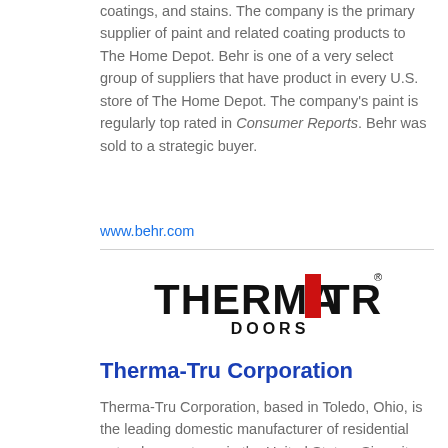coatings, and stains. The company is the primary supplier of paint and related coating products to The Home Depot. Behr is one of a very select group of suppliers that have product in every U.S. store of The Home Depot. The company’s paint is regularly top rated in Consumer Reports. Behr was sold to a strategic buyer.
www.behr.com
[Figure (logo): Therma-Tru Doors logo with bold black text THERMA-TRU and a red rectangle between THERMA and TRU, with DOORS below in smaller black text and a registered trademark symbol.]
Therma-Tru Corporation
Therma-Tru Corporation, based in Toledo, Ohio, is the leading domestic manufacturer of residential entry door systems in the United States. Since its founding in 1962, Therma-Tru has been at the forefront of